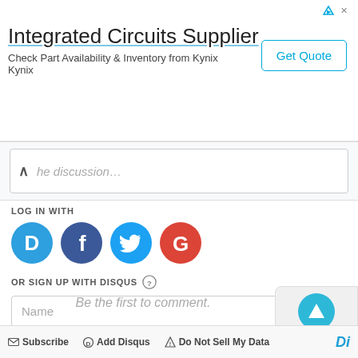[Figure (screenshot): Advertisement banner for 'Integrated Circuits Supplier' by Kynix with 'Get Quote' button and ad icons]
the discussion…
LOG IN WITH
[Figure (infographic): Social login icons: Disqus (D, blue), Facebook (f, dark blue), Twitter (bird, cyan), Google (G, red)]
OR SIGN UP WITH DISQUS ?
Name
Be the first to comment.
Subscribe   Add Disqus   Do Not Sell My Data   DI…S